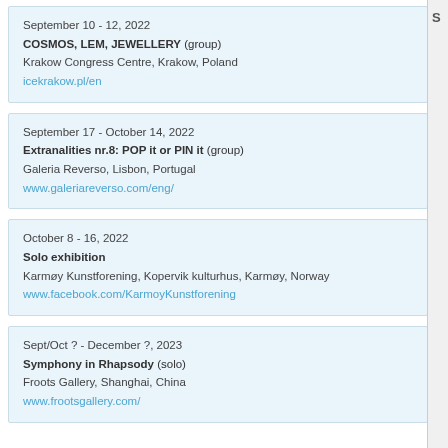September 10 - 12, 2022
COSMOS, LEM, JEWELLERY (group)
Krakow Congress Centre, Krakow, Poland
icekrakow.pl/en
September 17 - October 14, 2022
Extranalities nr.8: POP it or PIN it (group)
Galeria Reverso, Lisbon, Portugal
www.galeriareverso.com/eng/
October 8 - 16, 2022
Solo exhibition
Karmøy Kunstforening, Kopervik kulturhus, Karmøy, Norway
www.facebook.com/KarmoyKunstforening
Sept/Oct ? - December ?, 2023
Symphony in Rhapsody (solo)
Froots Gallery, Shanghai, China
www.frootsgallery.com/